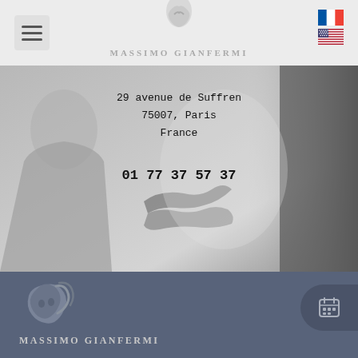[Figure (logo): Massimo Gianfermi logo and navigation header with hamburger menu icon on left, brand name in center, French and US flag icons on right]
[Figure (photo): Grayscale background photo of two people shaking hands in a professional setting, woman smiling on left, man in dark suit on right]
29 avenue de Suffren
75007, Paris
France
01 77 37 57 37
[Figure (logo): Massimo Gianfermi logo in footer on dark blue-gray background, with stylized face/hair graphic mark and brand name text, calendar button on right edge]